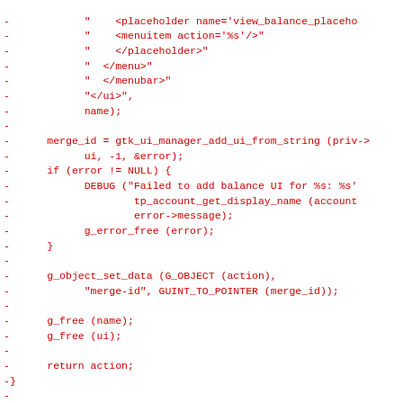Code diff showing removal of GTK UI manager balance widget setup function